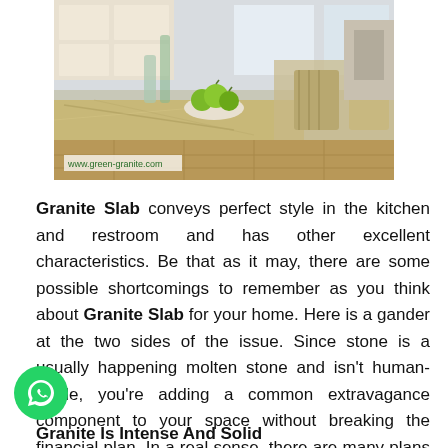[Figure (photo): Interior kitchen photo showing granite countertop with bowl of green apples, dining chairs in background, with watermark www.green-granite.com]
Granite Slab conveys perfect style in the kitchen and restroom and has other excellent characteristics. Be that as it may, there are some possible shortcomings to remember as you think about Granite Slab for your home. Here is a gander at the two sides of the issue. Since stone is a usually happening molten stone and isn't human-made, you're adding a common extravagance component to your space without breaking the financial plan. In a real sense, there are many plans and shading alternatives to browse, so there will undoubtedly be an ideal section out there for you.
Granite Is Intense And Solid